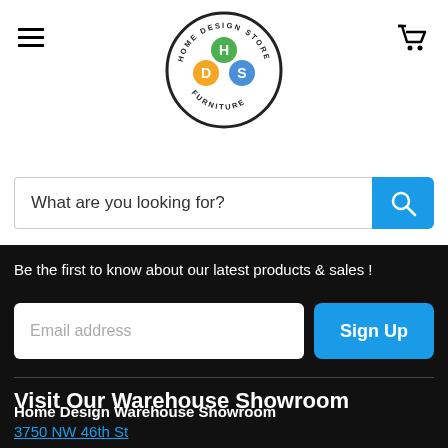[Figure (logo): Home Design Store Furniture circular logo with colorful icons]
What are you looking for?
Be the first to know about our latest products & sales !
Email address
Sign Up
Visit Our Warehouse Showroom
Home Design Warehouse Showroom
3750 NW 46th St